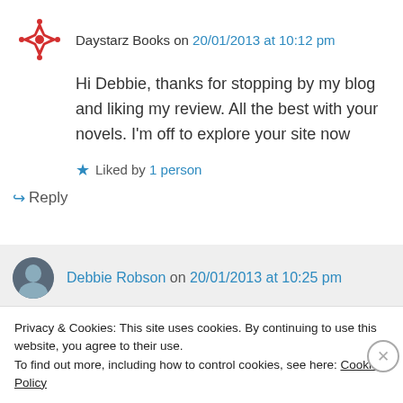Daystarz Books on 20/01/2013 at 10:12 pm
Hi Debbie, thanks for stopping by my blog and liking my review. All the best with your novels. I'm off to explore your site now
Liked by 1 person
↪ Reply
Debbie Robson on 20/01/2013 at 10:25 pm
Privacy & Cookies: This site uses cookies. By continuing to use this website, you agree to their use.
To find out more, including how to control cookies, see here: Cookie Policy
Close and accept